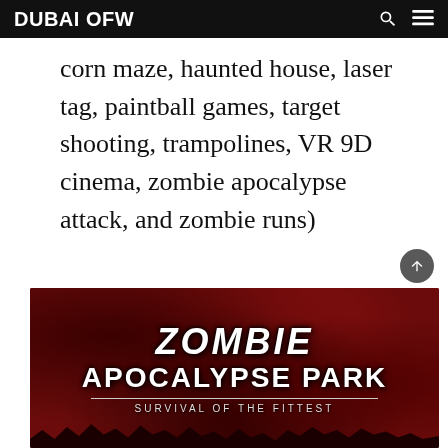DUBAI OFW
corn maze, haunted house, laser tag, paintball games, target shooting, trampolines, VR 9D cinema, zombie apocalypse attack, and zombie runs)
[Figure (illustration): Zombie Apocalypse Park promotional banner with dark red mottled background, large text reading ZOMBIE APOCALYPSE PARK and tagline SURVIVAL OF THE FITTEST, silhouette of trees along bottom edge]